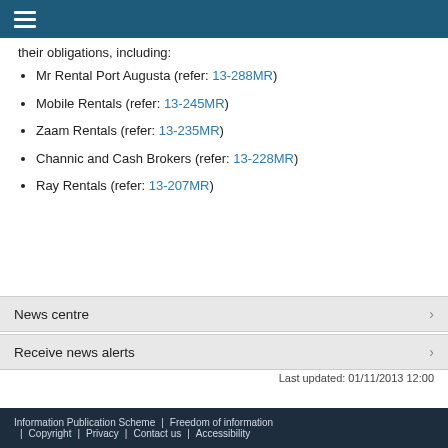their obligations, including:
Mr Rental Port Augusta (refer: 13-288MR)
Mobile Rentals (refer: 13-245MR)
Zaam Rentals (refer: 13-235MR)
Channic and Cash Brokers (refer: 13-228MR)
Ray Rentals (refer: 13-207MR)
News centre
Receive news alerts
Last updated: 01/11/2013 12:00
Information Publication Scheme | Freedom of information | Copyright | Privacy | Contact us | Accessibility